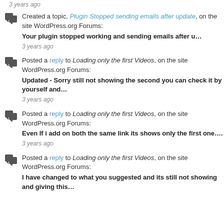3 years ago
Created a topic, Plugin Stopped sending emails after update, on the site WordPress.org Forums: Your plugin stopped working and sending emails after u… 3 years ago
Posted a reply to Loading only the first Videos, on the site WordPress.org Forums: Updated - Sorry still not showing the second you can check it by yourself and… 3 years ago
Posted a reply to Loading only the first Videos, on the site WordPress.org Forums: Even If i add on both the same link its shows only the first one…. 3 years ago
Posted a reply to Loading only the first Videos, on the site WordPress.org Forums: I have changed to what you suggested and its still not showing and giving this…